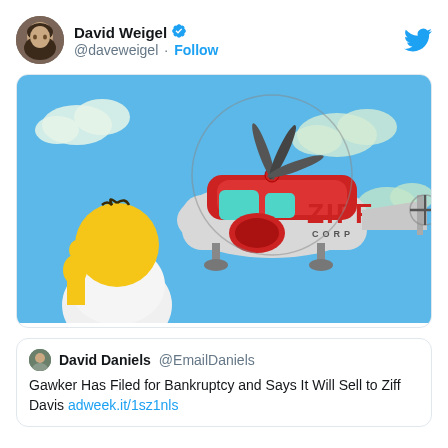David Weigel @daveweigel · Follow
[Figure (screenshot): Screenshot of a Simpsons animation still showing Homer Simpson looking up at a red and grey helicopter labeled 'ZIFF CORP' flying in a blue sky with clouds]
David Daniels @EmailDaniels — Gawker Has Filed for Bankruptcy and Says It Will Sell to Ziff Davis adweek.it/1sz1nls